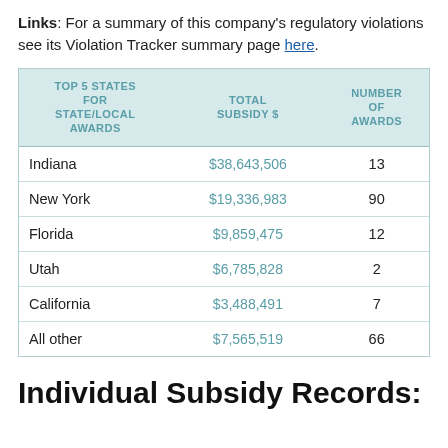Links: For a summary of this company's regulatory violations see its Violation Tracker summary page here.
| TOP 5 STATES FOR STATE/LOCAL AWARDS | TOTAL SUBSIDY $ | NUMBER OF AWARDS |
| --- | --- | --- |
| Indiana | $38,643,506 | 13 |
| New York | $19,336,983 | 90 |
| Florida | $9,859,475 | 12 |
| Utah | $6,785,828 | 2 |
| California | $3,488,491 | 7 |
| All other | $7,565,519 | 66 |
Individual Subsidy Records: